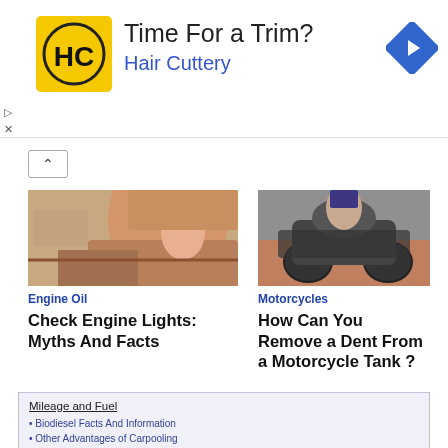[Figure (screenshot): Hair Cuttery advertisement banner with yellow logo showing HC, text 'Time For a Trim?' and 'Hair Cuttery', blue diamond navigation arrow on right]
[Figure (photo): Woman in car looking at phone, reddish-brown hair, white top with turquoise necklace]
Engine Oil
Check Engine Lights: Myths And Facts
[Figure (photo): Person on a motorcycle, dark motorcycle, outdoor setting]
Motorcycles
How Can You Remove a Dent From a Motorcycle Tank ?
Biodiesel Facts And Information
Other Advantages of Carpooling
How to Make Ethanol - Discover the Basics of Making Ethanol
Save Money With Gas Rebate Credit Cards
Accurate Air-fuel Ratio is Done by the Saturn Oxygen Sensor
Prevent Engine Leaks With the Saturn Head Gasket
Crown Vic Police Interceptor: Fords Newest Green Machine
Bill Increases Fuel Standards 4% Annually
How To Fight Back Against High Gas Prices